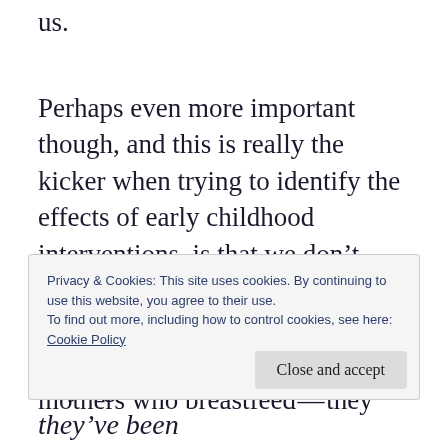us.
Perhaps even more important though, and this is really the kicker when trying to identify the effects of early childhood interventions, is that we don't know what else the parents did differently for these two children. Given what we know about mothers who breastfeed—they
Privacy & Cookies: This site uses cookies. By continuing to use this website, you agree to their use.
To find out more, including how to control cookies, see here:
Cookie Policy
staying at home with their kids, they've been